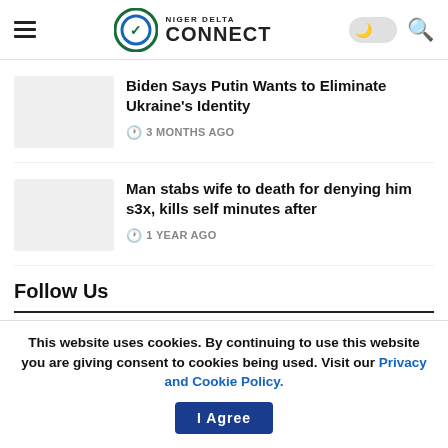Niger Delta Connect
Biden Says Putin Wants to Eliminate Ukraine's Identity
3 MONTHS AGO
Man stabs wife to death for denying him s3x, kills self minutes after
1 YEAR AGO
Follow Us
This website uses cookies. By continuing to use this website you are giving consent to cookies being used. Visit our Privacy and Cookie Policy.